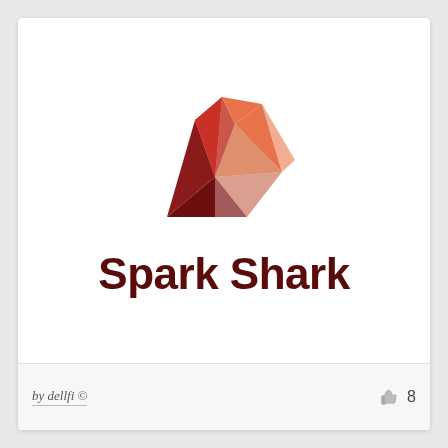[Figure (logo): Spark Shark logo: abstract geometric shark fin shape made of triangular polygons in red, dark red/maroon, and orange-coral colors, forming a crown-like or fin shape above the brand name]
Spark Shark
by dellfi © 8